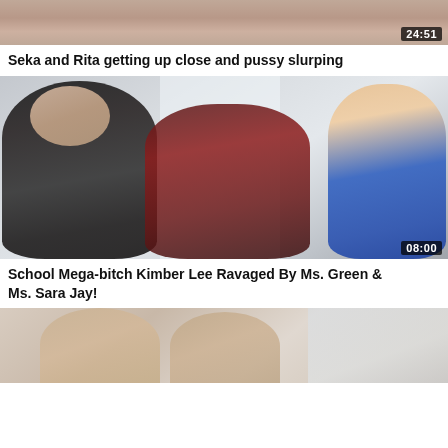[Figure (photo): Partial video thumbnail showing skin tones at top, duration 24:51]
Seka and Rita getting up close and pussy slurping
[Figure (photo): Video thumbnail showing three women in an office setting, duration 08:00]
School Mega-bitch Kimber Lee Ravaged By Ms. Green & Ms. Sara Jay!
[Figure (photo): Partial video thumbnail showing two women's faces]